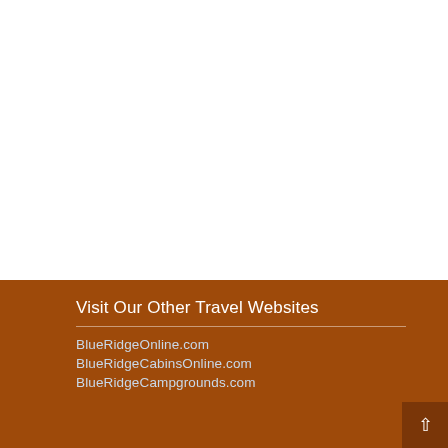Visit Our Other Travel Websites
BlueRidgeOnline.com
BlueRidgeCabinsOnline.com
BlueRidgeCampgrounds.com